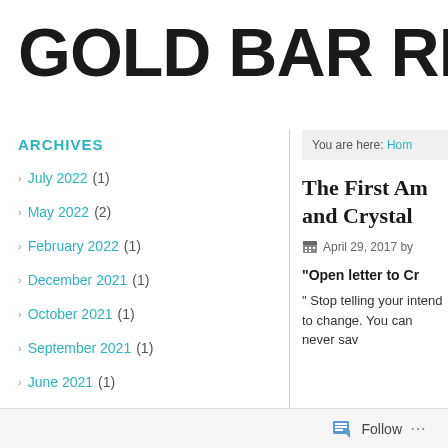GOLD BAR REPOR
ARCHIVES
July 2022 (1)
May 2022 (2)
February 2022 (1)
December 2021 (1)
October 2021 (1)
September 2021 (1)
June 2021 (1)
May 2021 (1)
You are here: Hom
The First Am and Crystal
April 29, 2017 by
“Open letter to Cr
“ Stop telling your intend to change. You can never sav